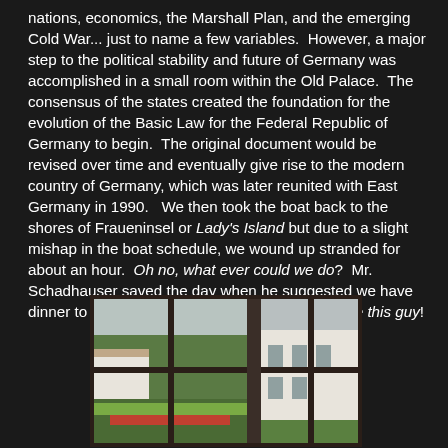nations, economics, the Marshall Plan, and the emerging Cold War... just to name a few variables.  However, a major step to the political stability and future of Germany was accomplished in a small room within the Old Palace.  The consensus of the states created the foundation for the evolution of the Basic Law for the Federal Republic of Germany to begin.  The original document would be revised over time and eventually give rise to the modern country of Germany, which was later reunited with East Germany in 1990.   We then took the boat back to the shores of Fraueninsel or Lady's Island but due to a slight mishap in the boat schedule, we wound up stranded for about an hour.  Oh no, what ever could we do?  Mr. Schadhauser saved the day when he suggested we have dinner to pass the time.  Like I said before... I love this guy!
[Figure (photo): View through a double window with dark frames looking out onto a courtyard with green gardens and a white building with a red/brown roof.]